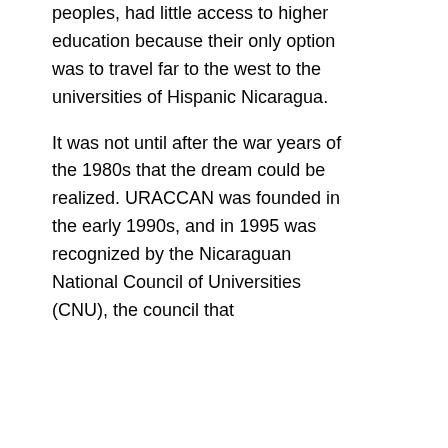peoples, had little access to higher education because their only option was to travel far to the west to the universities of Hispanic Nicaragua.
It was not until after the war years of the 1980s that the dream could be realized. URACCAN was founded in the early 1990s, and in 1995 was recognized by the Nicaraguan National Council of Universities (CNU), the council that